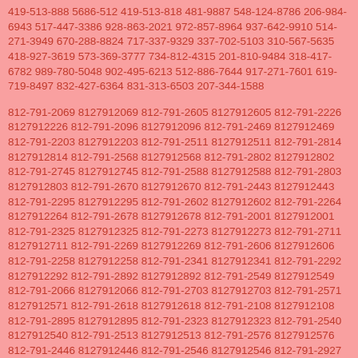419-513-888 5686-512 419-513-818 481-9887 548-124-8786 206-984-6943 517-447-3386 928-863-2021 972-857-8964 937-642-9910 514-271-3949 670-288-8824 717-337-9329 337-702-5103 310-567-5635 418-927-3619 573-369-3777 734-812-4315 201-810-9484 318-417-6782 989-780-5048 902-495-6213 512-886-7644 917-271-7601 619-719-8497 832-427-6364 831-313-6503 207-344-1588
812-791-2069 8127912069 812-791-2605 8127912605 812-791-2226 8127912226 812-791-2096 8127912096 812-791-2469 8127912469 812-791-2203 8127912203 812-791-2511 8127912511 812-791-2814 8127912814 812-791-2568 8127912568 812-791-2802 8127912802 812-791-2745 8127912745 812-791-2588 8127912588 812-791-2803 8127912803 812-791-2670 8127912670 812-791-2443 8127912443 812-791-2295 8127912295 812-791-2602 8127912602 812-791-2264 8127912264 812-791-2678 8127912678 812-791-2001 8127912001 812-791-2325 8127912325 812-791-2273 8127912273 812-791-2711 8127912711 812-791-2269 8127912269 812-791-2606 8127912606 812-791-2258 8127912258 812-791-2341 8127912341 812-791-2292 8127912292 812-791-2892 8127912892 812-791-2549 8127912549 812-791-2066 8127912066 812-791-2703 8127912703 812-791-2571 8127912571 812-791-2618 8127912618 812-791-2108 8127912108 812-791-2895 8127912895 812-791-2323 8127912323 812-791-2540 8127912540 812-791-2513 8127912513 812-791-2576 8127912576 812-791-2446 8127912446 812-791-2546 8127912546 812-791-2927 8127912927 812-791-2383 8127912383 812-791-